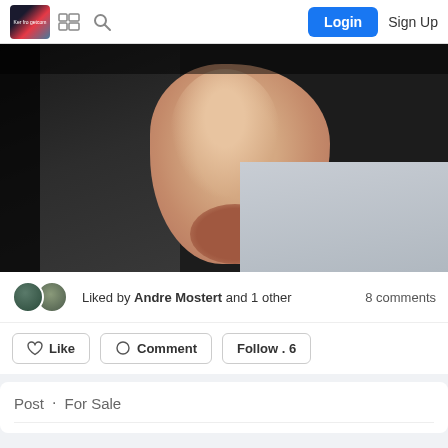Login  Sign Up
[Figure (photo): Close-up photo of a hand or fist against dark clothing and light background]
Liked by Andre Mostert and 1 other   8 comments
Like  Comment  Follow . 6
Post · For Sale